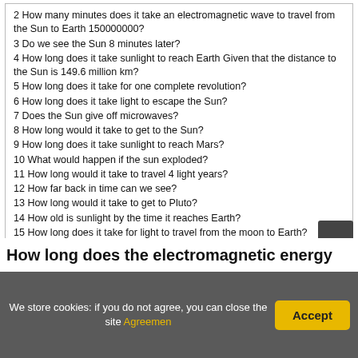2 How many minutes does it take an electromagnetic wave to travel from the Sun to Earth 150000000?
3 Do we see the Sun 8 minutes later?
4 How long does it take sunlight to reach Earth Given that the distance to the Sun is 149.6 million km?
5 How long does it take for one complete revolution?
6 How long does it take light to escape the Sun?
7 Does the Sun give off microwaves?
8 How long would it take to get to the Sun?
9 How long does it take sunlight to reach Mars?
10 What would happen if the sun exploded?
11 How long would it take to travel 4 light years?
12 How far back in time can we see?
13 How long would it take to get to Pluto?
14 How old is sunlight by the time it reaches Earth?
15 How long does it take for light to travel from the moon to Earth?
How long does the electromagnetic energy…
We store cookies: if you do not agree, you can close the site Agreemen